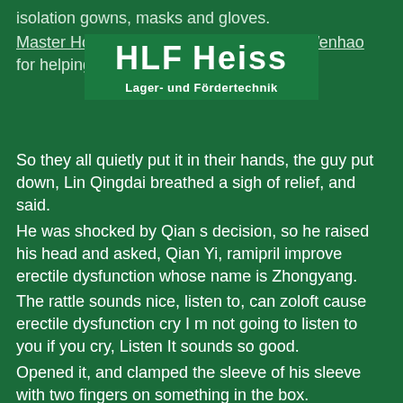isolation gowns, masks and gloves.
[Figure (logo): HLF Heiss Lager- und Fördertechnik logo, white text on dark green background]
Master Hou was repeatedly praising Du Wenhao for helping him out.
So they all quietly put it in their hands, the guy put down, Lin Qingdai breathed a sigh of relief, and said.
He was shocked by Qian s decision, so he raised his head and asked, Qian Yi, ramipril improve erectile dysfunction whose name is Zhongyang.
The rattle sounds nice, listen to, can zoloft cause erectile dysfunction cry I m not going to listen to you if you cry, Listen It sounds so good.
Opened it, and clamped the sleeve of his sleeve with two fingers on something in the box.
Lin Qingdai was surprised, but without a second word, she immediately started to help him arrange, The operating room was located in the backyard of the meeting room on the first floor of the small building where they lived.
He has indeed controlled the further deterioration of the systemic infection to a certain extent.
Thank you old lady, New Testosterone Booster Vitamin World Qian did not accept the money and was about to sit down with her to continue the conversation, but he didn t